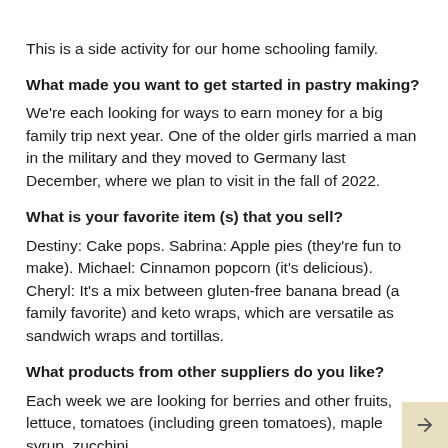This is a side activity for our home schooling family.
What made you want to get started in pastry making?
We're each looking for ways to earn money for a big family trip next year. One of the older girls married a man in the military and they moved to Germany last December, where we plan to visit in the fall of 2022.
What is your favorite item (s) that you sell?
Destiny: Cake pops. Sabrina: Apple pies (they're fun to make). Michael: Cinnamon popcorn (it's delicious). Cheryl: It's a mix between gluten-free banana bread (a family favorite) and keto wraps, which are versatile as sandwich wraps and tortillas.
What products from other suppliers do you like?
Each week we are looking for berries and other fruits, lettuce, tomatoes (including green tomatoes), maple syrup, zucchini